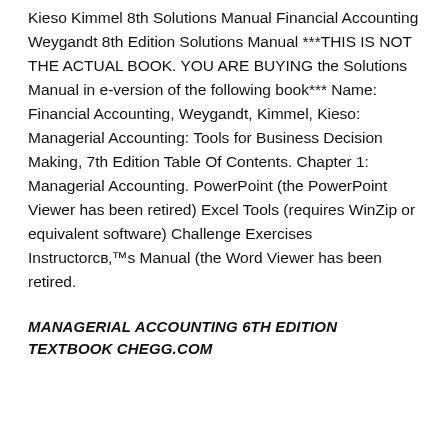Kieso Kimmel 8th Solutions Manual Financial Accounting Weygandt 8th Edition Solutions Manual ***THIS IS NOT THE ACTUAL BOOK. YOU ARE BUYING the Solutions Manual in e-version of the following book*** Name: Financial Accounting, Weygandt, Kimmel, Kieso: Managerial Accounting: Tools for Business Decision Making, 7th Edition Table Of Contents. Chapter 1: Managerial Accounting. PowerPoint (the PowerPoint Viewer has been retired) Excel Tools (requires WinZip or equivalent software) Challenge Exercises Instructor's Manual (the Word Viewer has been retired.
MANAGERIAL ACCOUNTING 6TH EDITION TEXTBOOK CHEGG.COM